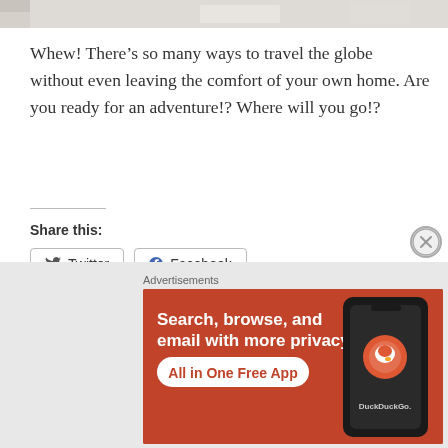[Figure (photo): Partial top strip of a photo, likely showing a room or travel-related scene]
Whew! There’s so many ways to travel the globe without even leaving the comfort of your own home. Are you ready for an adventure!? Where will you go!?
Share this:
Twitter
Facebook
Like this:
Loading
Advertisements
[Figure (screenshot): DuckDuckGo advertisement banner with orange background. Text reads: Search, browse, and email with more privacy. All in One Free App. Shows a smartphone with the DuckDuckGo logo.]